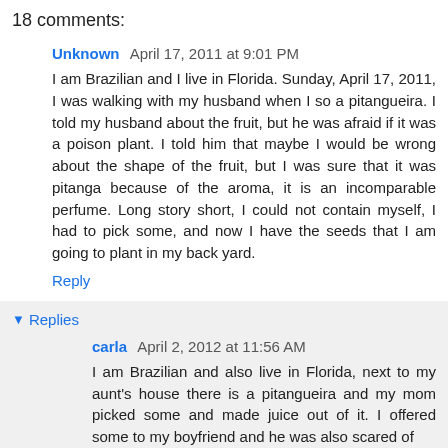18 comments:
Unknown  April 17, 2011 at 9:01 PM
I am Brazilian and I live in Florida. Sunday, April 17, 2011, I was walking with my husband when I so a pitangueira. I told my husband about the fruit, but he was afraid if it was a poison plant. I told him that maybe I would be wrong about the shape of the fruit, but I was sure that it was pitanga because of the aroma, it is an incomparable perfume. Long story short, I could not contain myself, I had to pick some, and now I have the seeds that I am going to plant in my back yard.
Reply
Replies
carla  April 2, 2012 at 11:56 AM
I am Brazilian and also live in Florida, next to my aunt's house there is a pitangueira and my mom picked some and made juice out of it. I offered some to my boyfriend and he was also scared of